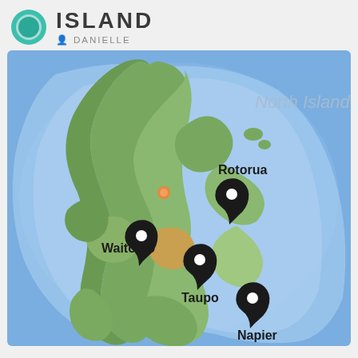ISLAND
DANIELLE
[Figure (map): Map of New Zealand's North Island showing locations of Waitomo, Rotorua, Taupo, and Napier marked with map pins. The map shows topographic relief with green land and blue ocean/sea areas.]